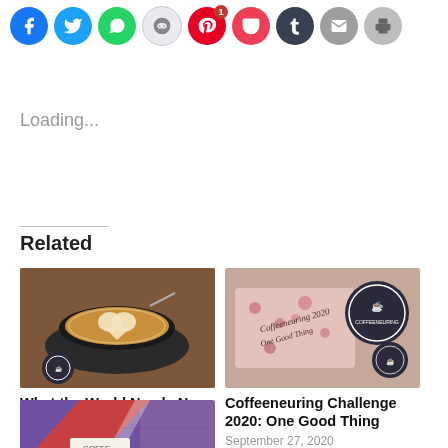[Figure (other): Row of social media sharing icon buttons: Facebook (blue), Twitter (cyan), WhatsApp (green), Reddit (light gray), Pinterest (red, badge 1), Pocket (red-pink), Tumblr (dark navy), Email (gray), Print (light gray)]
Loading...
Related
[Figure (photo): Top-down view of a latte with heart latte art in a dark cup on a saucer on a wooden table, with a small round coffeeneuring badge sticker]
What the World Needs Now: Coffeeneuring
October 29, 2017
In "Coffeeneuring"
[Figure (photo): Flat lay of coffeeneuring 2020 branded merchandise including a floral fabric item and round badges with coffee mug logos]
Coffeeneuring Challenge 2020: One Good Thing
September 27, 2020
In "Coffeeneuring"
[Figure (photo): Partial view of colorful painted brick wall in red and purple with a coffee-related book or card visible at the bottom edge]